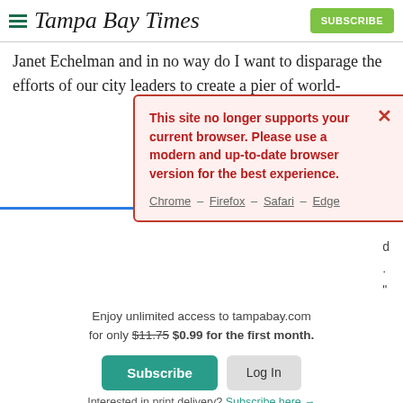Tampa Bay Times — SUBSCRIBE
Janet Echelman and in no way do I want to disparage the efforts of our city leaders to create a pier of world-
[Figure (screenshot): Browser compatibility warning modal with red border on pink background. Text reads: 'This site no longer supports your current browser. Please use a modern and up-to-date browser version for the best experience.' Links: Chrome – Firefox – Safari – Edge. Red X close button.]
Enjoy unlimited access to tampabay.com for only $11.75 $0.99 for the first month.
Subscribe   Log In
Interested in print delivery? Subscribe here →
Additionally, the cost to take down the art before a storm